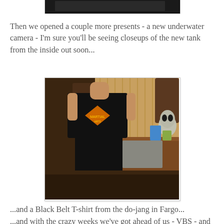[Figure (photo): Top cropped portion of a photograph visible at very top of page]
Then we opened a couple more presents - a new underwater camera - I'm sure you'll be seeing closeups of the new tank from the inside out soon...
[Figure (photo): Photo of a child holding up a black t-shirt with a graphic design, standing near a wooden dining table with an alien decoration visible in the background]
...and a Black Belt T-shirt from the do-jang in Fargo...
...and with the crazy weeks we've got ahead of us - VBS - and camping/canoeing - it'll still be a little while before we can have a party with his friends...